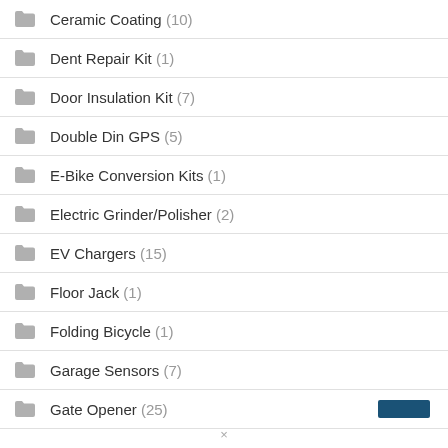Ceramic Coating (10)
Dent Repair Kit (1)
Door Insulation Kit (7)
Double Din GPS (5)
E-Bike Conversion Kits (1)
Electric Grinder/Polisher (2)
EV Chargers (15)
Floor Jack (1)
Folding Bicycle (1)
Garage Sensors (7)
Gate Opener (25)